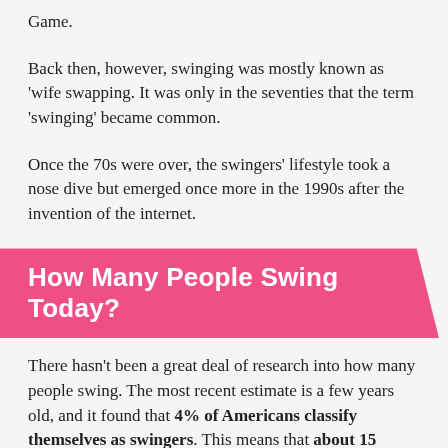Game.
Back then, however, swinging was mostly known as 'wife swapping. It was only in the seventies that the term 'swinging' became common.
Once the 70s were over, the swingers' lifestyle took a nose dive but emerged once more in the 1990s after the invention of the internet.
How Many People Swing Today?
There hasn't been a great deal of research into how many people swing. The most recent estimate is a few years old, and it found that 4% of Americans classify themselves as swingers. This means that about 15 million U.S. citizens are swingers.